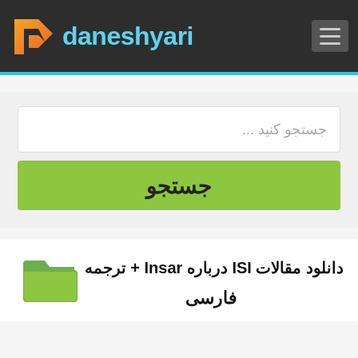[Figure (logo): Daneshyari logo with orange/gold stylized 'd' icon and cyan brand name text on dark header bar with hamburger menu icon]
جستجو کنید ...
جستجو
دانلود مقالات ISI درباره Insar + ترجمه فارسی